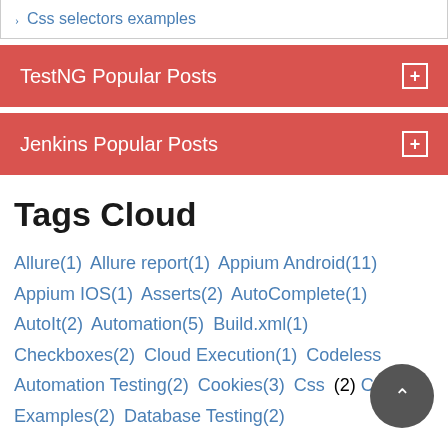Css selectors examples
TestNG Popular Posts
Jenkins Popular Posts
Tags Cloud
Allure(1)  Allure report(1)  Appium Android(11)  Appium IOS(1)  Asserts(2)  AutoComplete(1)  AutoIt(2)  Automation(5)  Build.xml(1)  Checkboxes(2)  Cloud Execution(1)  Codeless Automation Testing(2)  Cookies(3)  Css(2)  Css Examples(2)  Database Testing(2)